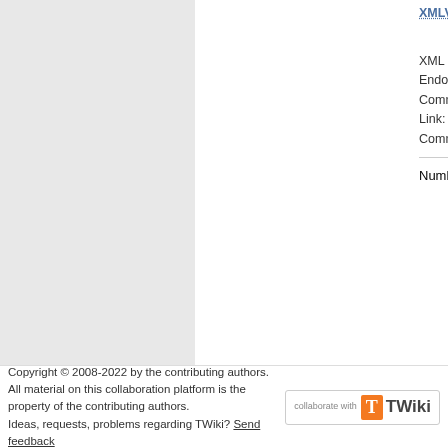XMLVersRFC r14 - 2018-02-27 - 12:39 MarkusDe
XML Schema Versioning Policies: Endorsed Note Request for TCG Comments and Approvals Document Link: Schema Versioning Policies Comments from the interested public ...
Number of topics: 210
Copyright © 2008-2022 by the contributing authors. All material on this collaboration platform is the property of the contributing authors. Ideas, requests, problems regarding TWiki? Send feedback